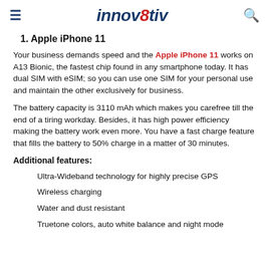innov8tiv
1. Apple iPhone 11
Your business demands speed and the Apple iPhone 11 works on A13 Bionic, the fastest chip found in any smartphone today. It has dual SIM with eSIM; so you can use one SIM for your personal use and maintain the other exclusively for business.
The battery capacity is 3110 mAh which makes you carefree till the end of a tiring workday. Besides, it has high power efficiency making the battery work even more. You have a fast charge feature that fills the battery to 50% charge in a matter of 30 minutes.
Additional features:
Ultra-Wideband technology for highly precise GPS
Wireless charging
Water and dust resistant
Truetone colors, auto white balance and night mode